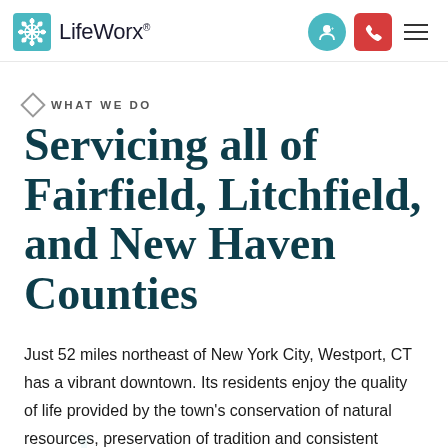[Figure (logo): LifeWorx logo with teal snowflake/flower icon and text 'LifeWorx' plus navigation buttons (teal user icon, red phone icon, hamburger menu)]
WHAT WE DO
Servicing all of Fairfield, Litchfield, and New Haven Counties
Just 52 miles northeast of New York City, Westport, CT has a vibrant downtown. Its residents enjoy the quality of life provided by the town's conservation of natural resources, preservation of tradition and consistent community events. After a long day at work, don't worry about household